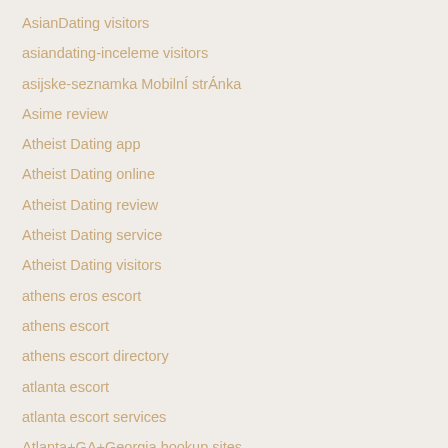AsianDating visitors
asiandating-inceleme visitors
asijske-seznamka MobilnÍ strÁnka
Asime review
Atheist Dating app
Atheist Dating online
Atheist Dating review
Atheist Dating service
Atheist Dating visitors
athens eros escort
athens escort
athens escort directory
atlanta escort
atlanta escort services
Atlanta+GA+Georgia hookup sites